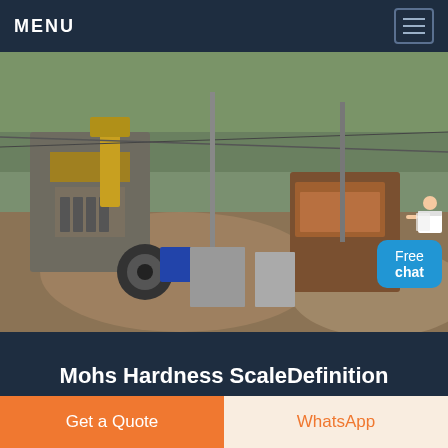MENU
[Figure (photo): Outdoor mining/crushing machinery site with large stone crushers, conveyor equipment, excavated earth mounds, and background trees]
Mohs Hardness ScaleDefinition Chart Details Quiz
Free chat
Get a Quote
WhatsApp